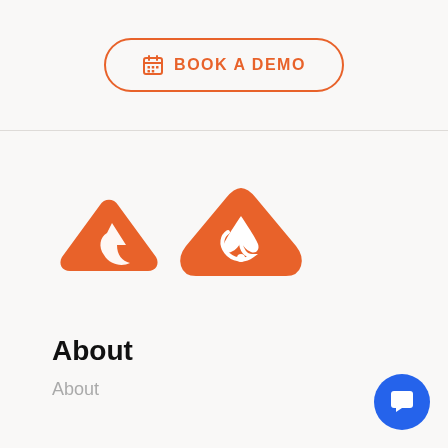[Figure (other): Book a Demo button with calendar icon, orange border and text, rounded pill shape]
[Figure (logo): Orange triangular logo with a recycling/play arrow symbol inside, pointing right]
About
About